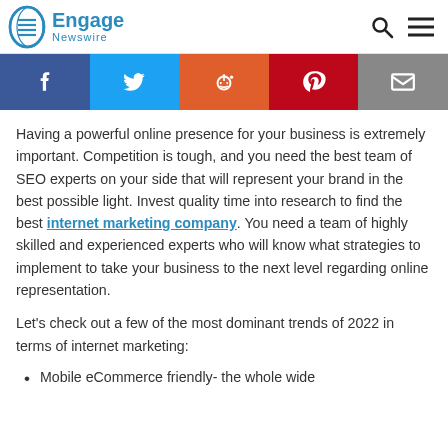Engage Newswire
[Figure (infographic): Social sharing buttons: Facebook (blue), Twitter (light blue), Reddit (orange-red), Pinterest (dark red), Email (gray)]
Having a powerful online presence for your business is extremely important. Competition is tough, and you need the best team of SEO experts on your side that will represent your brand in the best possible light. Invest quality time into research to find the best internet marketing company. You need a team of highly skilled and experienced experts who will know what strategies to implement to take your business to the next level regarding online representation.
Let's check out a few of the most dominant trends of 2022 in terms of internet marketing:
Mobile eCommerce friendly- the whole wide